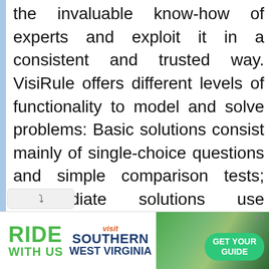the invaluable know-how of experts and exploit it in a consistent and trusted way. VisiRule offers different levels of functionality to model and solve problems: Basic solutions consist mainly of single-choice questions and simple comparison tests; Intermediate solutions use compound logic, multiple choice questions, text and numeric input calculations; Advanced solutions
[Figure (other): Advertisement banner: 'RIDE WITH US' in green text, Visit Southern West Virginia logo, scenic road photo with motorcycle rider, 'GET YOUR GUIDE' button in green]